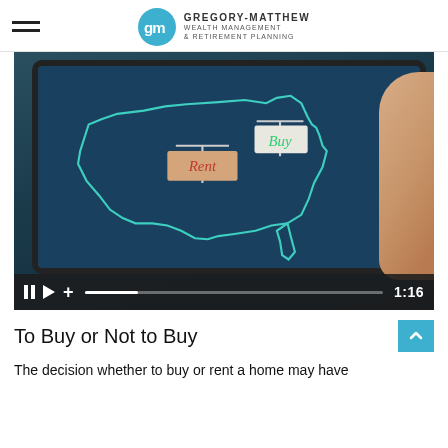GREGORY-MATTHEW WEALTH MANAGEMENT & RETIREMENT PLANNING
[Figure (screenshot): Video thumbnail showing a tablet displaying a map of the USA with 'Rent' and 'Buy' real estate signs, video controls at bottom showing paused state and time 1:16]
To Buy or Not to Buy
The decision whether to buy or rent a home may have